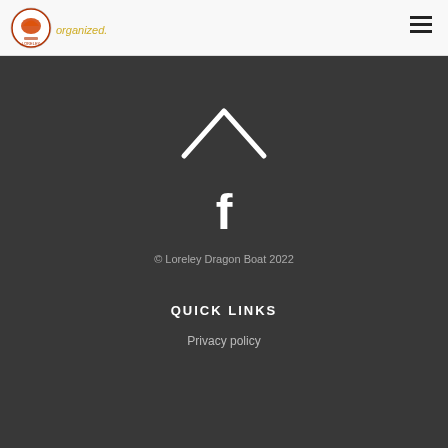organized. [Loreley Dragon Boat logo] [hamburger menu]
[Figure (logo): Loreley Dragon Boat circular logo with dragon illustration in red/orange]
[Figure (illustration): White upward-pointing chevron/caret icon on dark background]
[Figure (illustration): White Facebook 'f' icon on dark background]
© Loreley Dragon Boat 2022
QUICK LINKS
Privacy policy